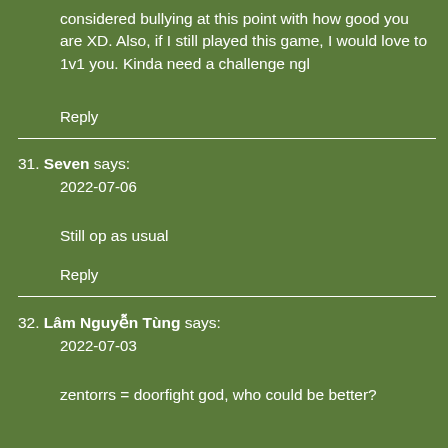considered bullying at this point with how good you are XD. Also, if I still played this game, I would love to 1v1 you. Kinda need a challenge ngl
Reply
31. Seven says:
2022-07-06
Still op as usual
Reply
32. Lâm Nguyễn Tùng says:
2022-07-03
zentorrs = doorfight god, who could be better?